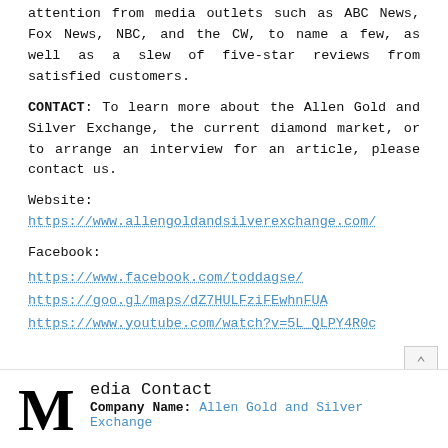attention from media outlets such as ABC News, Fox News, NBC, and the CW, to name a few, as well as a slew of five-star reviews from satisfied customers.
CONTACT: To learn more about the Allen Gold and Silver Exchange, the current diamond market, or to arrange an interview for an article, please contact us.
Website: https://www.allengoldandsilverexchange.com/
Facebook:
https://www.facebook.com/toddagse/
https://goo.gl/maps/dZ7HULFziFEwhnFUA
https://www.youtube.com/watch?v=5L_QLPY4R0c
Media Contact
Company Name: Allen Gold and Silver Exchange